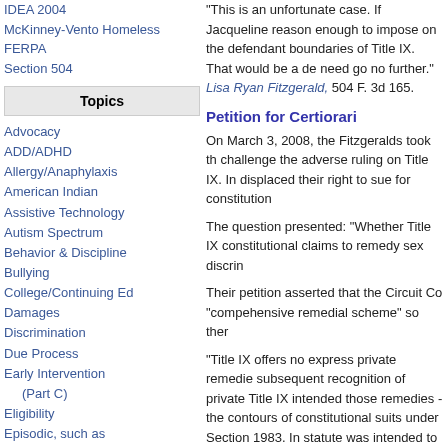IDEA 2004
McKinney-Vento Homeless
FERPA
Section 504
Topics
Advocacy
ADD/ADHD
Allergy/Anaphylaxis
American Indian
Assistive Technology
Autism Spectrum
Behavior & Discipline
Bullying
College/Continuing Ed
Damages
Discrimination
Due Process
Early Intervention (Part C)
Eligibility
Episodic, such as Allergies, Asthma, Diabetes, Epilepsy, etc
ESSA
ESY
Evaluations
FAPE
Flyers
Future Planning
Harassment
"This is an unfortunate case. If Jacqueline reason enough to impose on the defendant boundaries of Title IX. That would be a de need go no further." Lisa Ryan Fitzgerald, 504 F. 3d 165.
Petition for Certiorari
On March 3, 2008, the Fitzgeralds took th challenge the adverse ruling on Title IX. In displaced their right to sue for constitution
The question presented: "Whether Title IX constitutional claims to remedy sex discrin
Their petition asserted that the Circuit Co "compehensive remedial scheme" so ther
"Title IX offers no express private remedie subsequent recognition of private Title IX intended those remedies - the contours of constitutional suits under Section 1983. In statute was intended to expand, not to cor basis of sex."
The appeal also emphasized the split am
"The courts of appeals are irreconcilably c constitutional claims brought under Sectio funded educational institutions .... Confus to frustrate our nation's long-standing pol